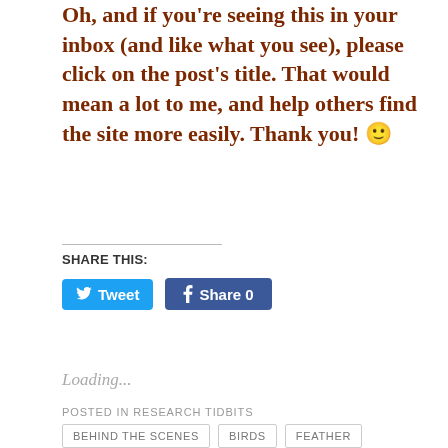Oh, and if you're seeing this in your inbox (and like what you see), please click on the post's title.  That would mean a lot to me, and help others find the site more easily.  Thank you! 🙂
SHARE THIS:
[Figure (other): Tweet button and Facebook Share 0 button]
Loading...
POSTED IN RESEARCH TIDBITS
BEHIND THE SCENES
BIRDS
FEATHER
FLYING
SCIENCE
TANGO